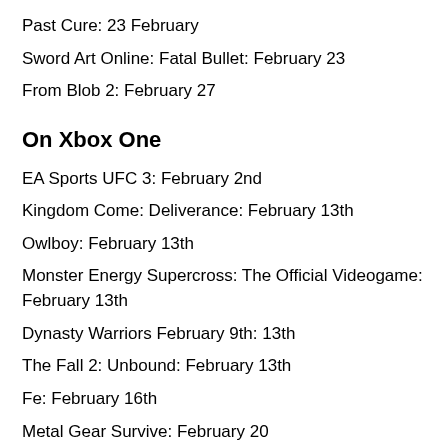Past Cure: 23 February
Sword Art Online: Fatal Bullet: February 23
From Blob 2: February 27
On Xbox One
EA Sports UFC 3: February 2nd
Kingdom Come: Deliverance: February 13th
Owlboy: February 13th
Monster Energy Supercross: The Official Videogame: February 13th
Dynasty Warriors February 9th: 13th
The Fall 2: Unbound: February 13th
Fe: February 16th
Metal Gear Survive: February 20
Past Cure: February 23
Sword Art Online: Fatal Bullet: February 23
From Blob 2: February 27